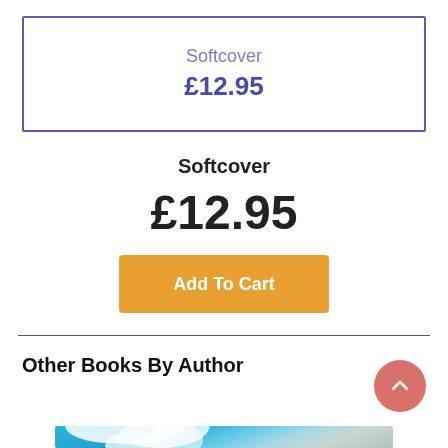Softcover
£12.95
Softcover
£12.95
Add To Cart
Other Books By Author
[Figure (photo): Sky with clouds — book cover image preview]